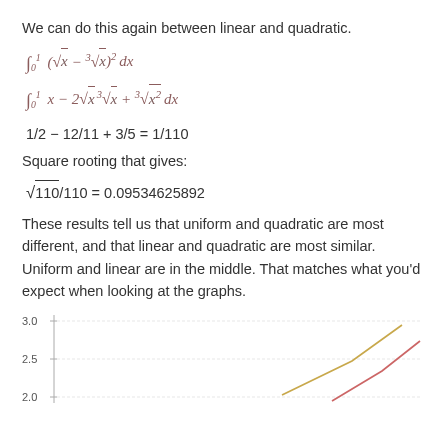We can do this again between linear and quadratic.
Square rooting that gives:
These results tell us that uniform and quadratic are most different, and that linear and quadratic are most similar. Uniform and linear are in the middle. That matches what you'd expect when looking at the graphs.
[Figure (line-chart): Partial view of a line chart showing y-axis values 2.0, 2.5, 3.0 and two lines (red/pink and gold/yellow) going upward to the right.]